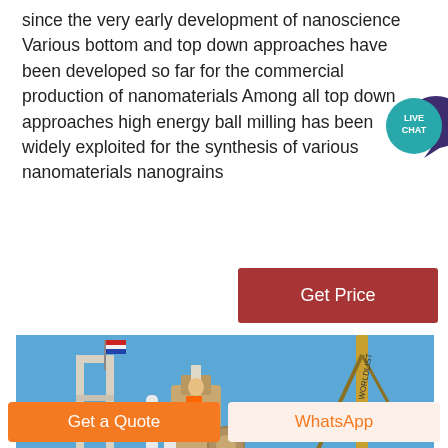since the very early development of nanoscience Various bottom and top down approaches have been developed so far for the commercial production of nanomaterials Among all top down approaches high energy ball milling has been widely exploited for the synthesis of various nanomaterials nanograins
[Figure (illustration): Live Chat speech bubble icon — teal circle with 'LIVE CHAT' text and a dark purple chat bubble shape]
[Figure (other): Button labeled 'Get Price' with dark red background]
[Figure (photo): Industrial machinery photo showing a ball mill or similar industrial equipment against a clear blue sky, with white piping, a crane arm visible on the right, and a flag on the left structure]
[Figure (other): Bottom bar with two buttons: 'Get a Quote' (orange) and 'WhatsApp' (light orange/white)]